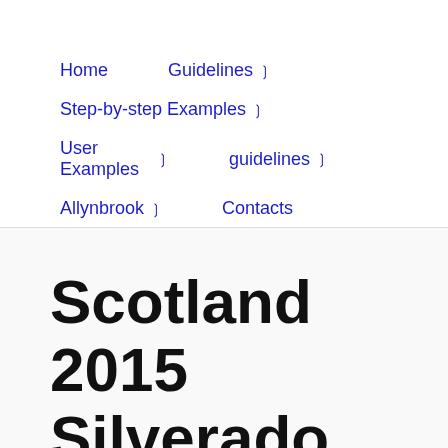Home
Guidelines ❯
Step-by-step Examples ❯
User Examples ❯
guidelines ❯
Allynbrook ❯
Contacts
Scotland 2015 Silverado 4x4